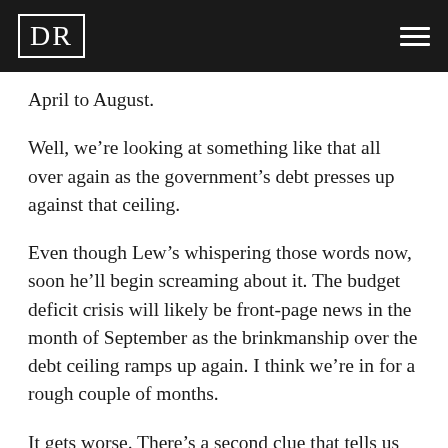DR
April to August.
Well, we’re looking at something like that all over again as the government’s debt presses up against that ceiling.
Even though Lew’s whispering those words now, soon he’ll begin screaming about it. The budget deficit crisis will likely be front-page news in the month of September as the brinkmanship over the debt ceiling ramps up again. I think we’re in for a rough couple of months.
It gets worse. There’s a second clue that tells us more about the upcoming collapse.